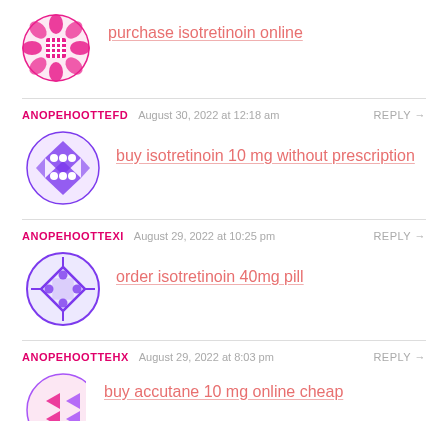[Figure (illustration): Pink decorative snowflake/flower avatar icon]
purchase isotretinoin online
ANOPEHOOTTEFD  August 30, 2022 at 12:18 am  REPLY →
[Figure (illustration): Purple decorative diamond/circle pattern avatar icon]
buy isotretinoin 10 mg without prescription
ANOPEHOOTTEXI  August 29, 2022 at 10:25 pm  REPLY →
[Figure (illustration): Purple circle with diamond and dots avatar icon]
order isotretinoin 40mg pill
ANOPEHOOTTEHX  August 29, 2022 at 8:03 pm  REPLY →
[Figure (illustration): Pink and purple partially visible avatar icon]
buy accutane 10 mg online cheap